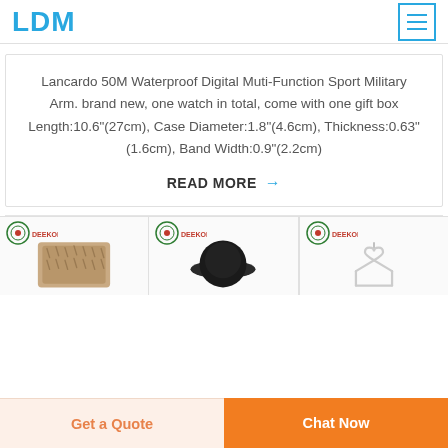LDM
Lancardo 50M Waterproof Digital Muti-Function Sport Military Arm. brand new, one watch in total, come with one gift box Length:10.6"(27cm), Case Diameter:1.8"(4.6cm), Thickness:0.63"(1.6cm), Band Width:0.9"(2.2cm)
READ MORE →
[Figure (photo): Three product thumbnails showing Deekon branded items: a fur/wool garment, a black round object, and a white clothing hanger]
Get a Quote
Chat Now